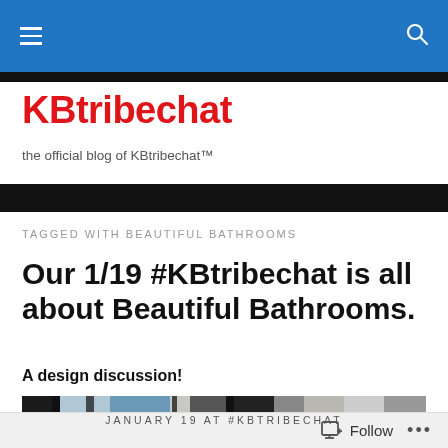KBtribechat — navigation bar
KBtribechat
the official blog of KBtribechat™
TAGGED WITH BEAUTIFUL BATHROOMS
Our 1/19 #KBtribechat is all about Beautiful Bathrooms.
A design discussion!
[Figure (photo): Bathroom image strip, grayscale/blue toned]
JANUARY 19 AT #KBTRIBECHAT
Follow